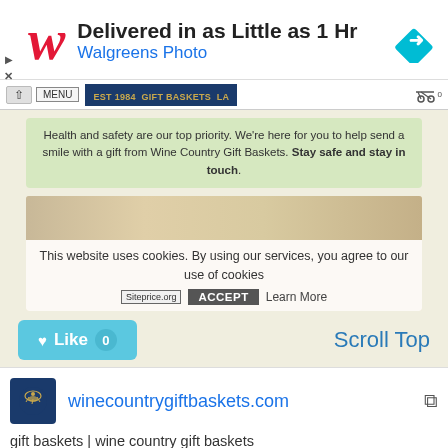[Figure (screenshot): Walgreens Photo advertisement banner with red cursive W logo, text 'Delivered in as Little as 1 Hr' and 'Walgreens Photo', blue diamond navigation icon on right, small arrow and X icons on left]
[Figure (screenshot): Website screenshot showing Wine Country Gift Baskets site with navigation bar, health/safety notice in green, product image, cookie consent banner with ACCEPT button and Learn More link, Like button showing 0 likes, Scroll Top link, site favicon, URL winecountrygiftbaskets.com, and site description text]
winecountrygiftbaskets.com
gift baskets | wine country gift baskets
shop gift baskets with gourmet food, fruit, chocolate and wine. send the perfect gifts from our large selection